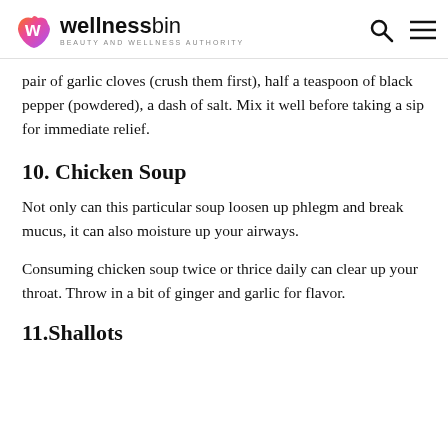wellnessbin BEAUTY AND WELLNESS AUTHORITY
pair of garlic cloves (crush them first), half a teaspoon of black pepper (powdered), a dash of salt. Mix it well before taking a sip for immediate relief.
10. Chicken Soup
Not only can this particular soup loosen up phlegm and break mucus, it can also moisture up your airways.
Consuming chicken soup twice or thrice daily can clear up your throat. Throw in a bit of ginger and garlic for flavor.
11.Shallots